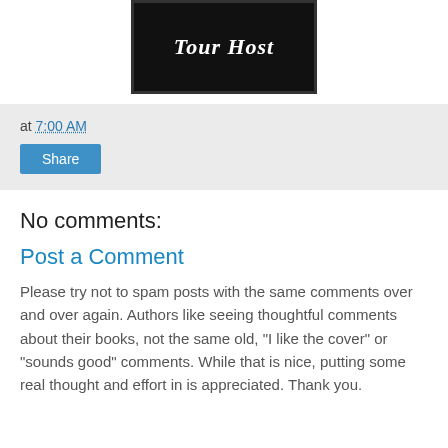[Figure (logo): Black rectangular badge with white italic script text reading 'Tour Host']
at 7:00 AM
Share
No comments:
Post a Comment
Please try not to spam posts with the same comments over and over again. Authors like seeing thoughtful comments about their books, not the same old, "I like the cover" or "sounds good" comments. While that is nice, putting some real thought and effort in is appreciated. Thank you.